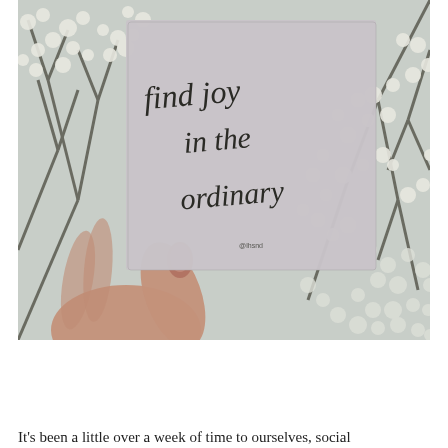[Figure (photo): A hand holding a square grey card with calligraphy text reading 'find joy in the ordinary', with blooming white trees visible in the background.]
It's been a little over a week of time to ourselves, social